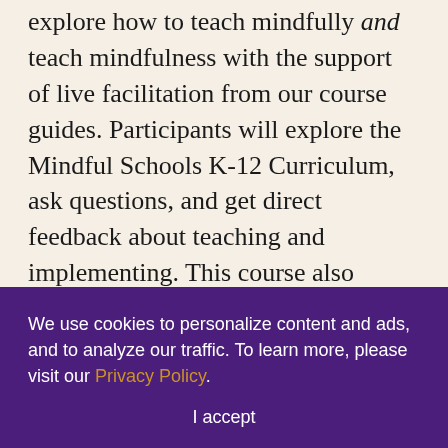explore how to teach mindfully and teach mindfulness with the support of live facilitation from our course guides. Participants will explore the Mindful Schools K-12 Curriculum, ask questions, and get direct feedback about teaching and implementing. This course also includes the opportunity to practice teaching with other participants to prepare you for teaching the curriculum in the new school year.
I haven't completed 101: Mindfulness
We use cookies to personalize content and ads, and to analyze our traffic. To learn more, please visit our Privacy Policy.
I accept